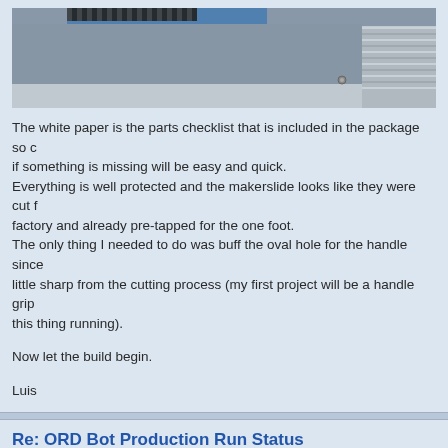[Figure (photo): Photo of packaged makerslide parts with a white parts checklist paper and metal rods visible]
The white paper is the parts checklist that is included in the package so checking if something is missing will be easy and quick.
Everything is well protected and the makerslide looks like they were cut from the factory and already pre-tapped for the one foot.
The only thing I needed to do was buff the oval hole for the handle since it was a little sharp from the cutting process (my first project will be a handle grip once I get this thing running).
Now let the build begin.
Luis
Re: ORD Bot Production Run Status
by mhensen » Wed Apr 04, 2012 5:15 pm
Looks really tidy.. Hoping that mine will be shipped the coming week..
Hopefully Bart has all the parts for the next few kits 😀